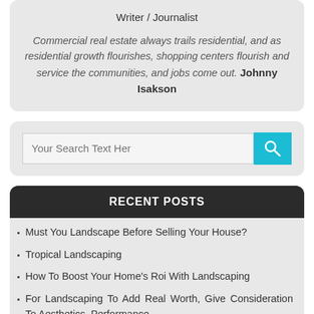Writer / Journalist
Commercial real estate always trails residential, and as residential growth flourishes, shopping centers flourish and service the communities, and jobs come out. Johnny Isakson
[Figure (screenshot): Search bar with input field 'Your Search Text Here' and a cyan/teal search button with magnifying glass icon]
RECENT POSTS
Must You Landscape Before Selling Your House?
Tropical Landscaping
How To Boost Your Home's Roi With Landscaping
For Landscaping To Add Real Worth, Give Consideration To Aesthetics, Performance